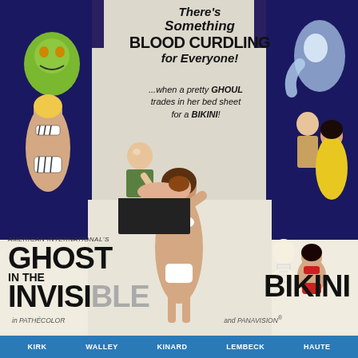[Figure (illustration): Movie poster for 'Ghost in the Invisible Bikini' (American International Pictures). Collage of illustrated scenes: woman in zebra-print bikini with green monster, man with sword over woman on table, central woman in white bikini, skeleton with woman in red bikini, couple embracing with monster, ghost figure in blue. Colorful exploitation/horror-comedy movie poster art.]
There's Something BLOOD CURDLING for Everyone!
...when a pretty GHOUL trades in her bed sheet for a BIKINI!
AMERICAN INTERNATIONAL'S GHOST IN THE INVISIBLE BIKINI
in PATHÉCOLOR and PANAVISION®
KIRK   WALLEY   KINARD   LEMBECK   HAUTE